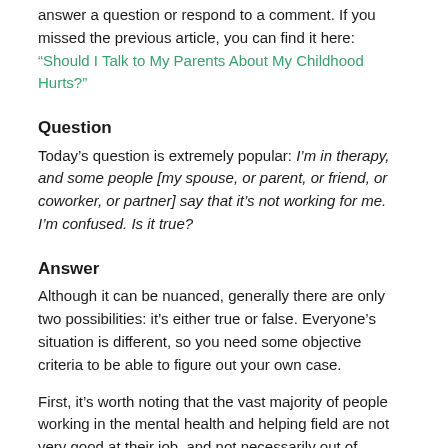answer a question or respond to a comment. If you missed the previous article, you can find it here: “Should I Talk to My Parents About My Childhood Hurts?”
Question
Today’s question is extremely popular: I’m in therapy, and some people [my spouse, or parent, or friend, or coworker, or partner] say that it’s not working for me. I’m confused. Is it true?
Answer
Although it can be nuanced, generally there are only two possibilities: it’s either true or false. Everyone’s situation is different, so you need some objective criteria to be able to figure out your own case.
First, it’s worth noting that the vast majority of people working in the mental health and helping field are not very good at their job, and not necessarily out of malevolence. They themselves